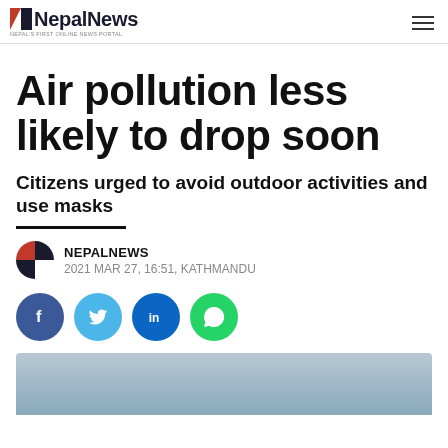NepalNews — NEPAL'S FIRST ONLINE NEWS PORTAL
Air pollution less likely to drop soon
Citizens urged to avoid outdoor activities and use masks
NEPALNEWS · 2021 MAR 27, 16:51, KATHMANDU
[Figure (other): Social share buttons: Facebook, Twitter, LinkedIn, WhatsApp]
[Figure (photo): Hazy sky photograph showing air pollution]